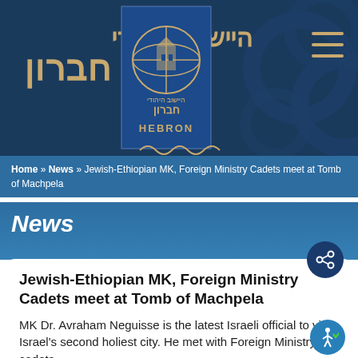[Figure (logo): Hebron Jewish Community website header with Hebrew text, logo with globe/building emblem, dark blue background with decorative pattern, and HEBRON text]
Home » News » Jewish-Ethiopian MK, Foreign Ministry Cadets meet at Tomb of Machpela
News
Jewish-Ethiopian MK, Foreign Ministry Cadets meet at Tomb of Machpela
MK Dr. Avraham Neguisse is the latest Israeli official to visit Israel's second holiest city. He met with Foreign Ministry cadets.
9.5.16, 23:51